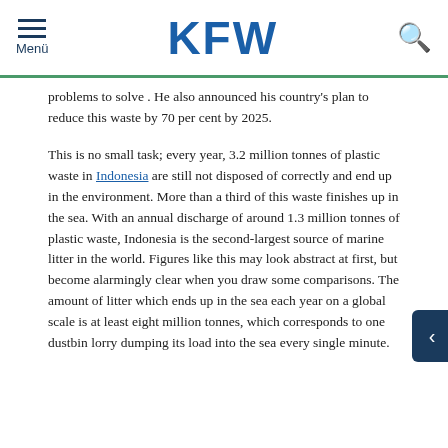KFW — Menü
problems to solve . He also announced his country's plan to reduce this waste by 70 per cent by 2025.
This is no small task; every year, 3.2 million tonnes of plastic waste in Indonesia are still not disposed of correctly and end up in the environment. More than a third of this waste finishes up in the sea. With an annual discharge of around 1.3 million tonnes of plastic waste, Indonesia is the second-largest source of marine litter in the world. Figures like this may look abstract at first, but become alarmingly clear when you draw some comparisons. The amount of litter which ends up in the sea each year on a global scale is at least eight million tonnes, which corresponds to one dustbin lorry dumping its load into the sea every single minute.